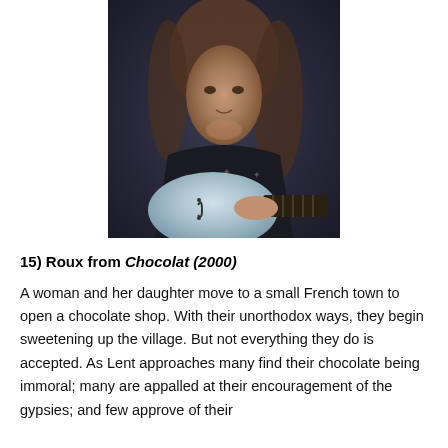[Figure (photo): A man with long hair playing a light blue guitar, wearing a dark patterned vest, photographed against a dark background.]
15) Roux from Chocolat (2000)
A woman and her daughter move to a small French town to open a chocolate shop. With their unorthodox ways, they begin sweetening up the village. But not everything they do is accepted. As Lent approaches many find their chocolate being immoral; many are appalled at their encouragement of the gypsies; and few approve of their